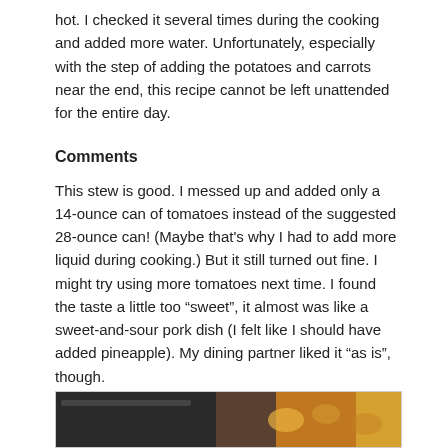hot. I checked it several times during the cooking and added more water. Unfortunately, especially with the step of adding the potatoes and carrots near the end, this recipe cannot be left unattended for the entire day.
Comments
This stew is good. I messed up and added only a 14-ounce can of tomatoes instead of the suggested 28-ounce can! (Maybe that's why I had to add more liquid during cooking.) But it still turned out fine. I might try using more tomatoes next time. I found the taste a little too “sweet”, it almost was like a sweet-and-sour pork dish (I felt like I should have added pineapple). My dining partner liked it “as is”, though.
Here are the pork cubes, browning. I decided to rinse the brownings into the stew pot, as noted in my directions (above).
[Figure (photo): Photo of pork cubes browning in a pan, partially visible at the bottom of the page.]